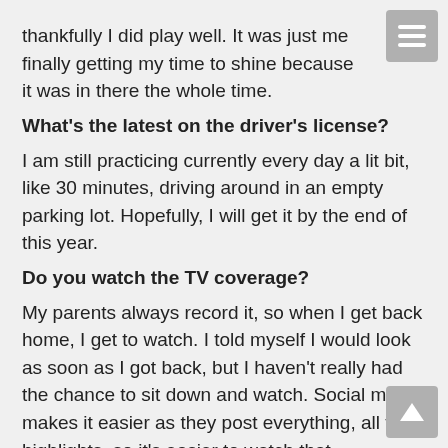thankfully I did play well. It was just me finally getting my time to shine because it was in there the whole time.
What's the latest on the driver's license?
I am still practicing currently every day a lit bit, like 30 minutes, driving around in an empty parking lot. Hopefully, I will get it by the end of this year.
Do you watch the TV coverage?
My parents always record it, so when I get back home, I get to watch. I told myself I would look as soon as I got back, but I haven't really had the chance to sit down and watch. Social media makes it easier as they post everything, all the highlights, so it's easier to watch that.
Tell me about the role of your support team, how important it is to you? Did your folks move with